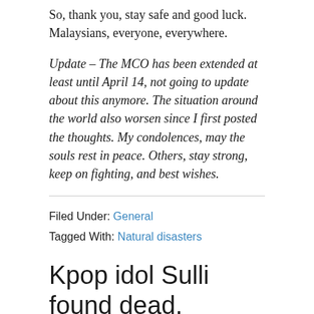So, thank you, stay safe and good luck. Malaysians, everyone, everywhere.
Update – The MCO has been extended at least until April 14, not going to update about this anymore. The situation around the world also worsen since I first posted the thoughts. My condolences, may the souls rest in peace. Others, stay strong, keep on fighting, and best wishes.
Filed Under: General
Tagged With: Natural disasters
Kpop idol Sulli found dead, apparent suicide